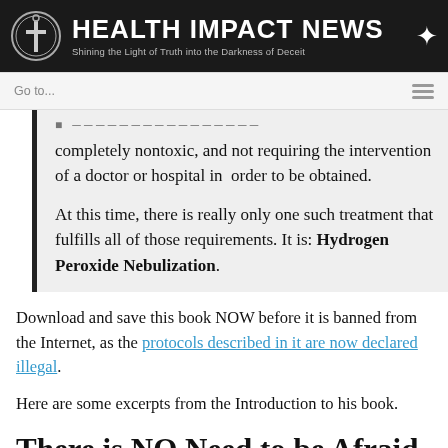HEALTH IMPACT NEWS — Shining the Light of Truth into the Darkness of Deceit
completely nontoxic, and not requiring the intervention of a doctor or hospital in order to be obtained.

At this time, there is really only one such treatment that fulfills all of those requirements. It is: Hydrogen Peroxide Nebulization.
Download and save this book NOW before it is banned from the Internet, as the protocols described in it are now declared illegal.
Here are some excerpts from the Introduction to his book.
There is NO Need to be Afraid